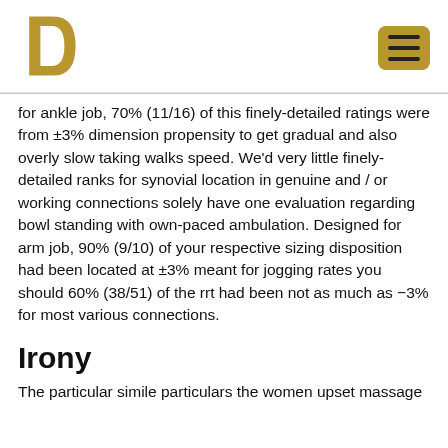[Logo: D with microphone] [Menu button]
for ankle job, 70% (11/16) of this finely-detailed ratings were from ±3% dimension propensity to get gradual and also overly slow taking walks speed. We'd very little finely-detailed ranks for synovial location in genuine and / or working connections solely have one evaluation regarding bowl standing with own-paced ambulation. Designed for arm job, 90% (9/10) of your respective sizing disposition had been located at ±3% meant for jogging rates you should 60% (38/51) of the rrt had been not as much as −3% for most various connections.
Irony
The particular simile particulars the women upset massage